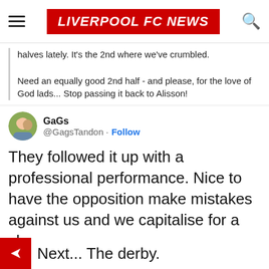LIVERPOOL FC NEWS
halves lately. It's the 2nd where we've crumbled.

Need an equally good 2nd half - and please, for the love of God lads... Stop passing it back to Alisson!
GaGs @GagsTandon · Follow
They followed it up with a professional performance. Nice to have the opposition make mistakes against us and we capitalise for a change.
Really good 2nd half and impressed with Ozan tonight.
Next... The derby.